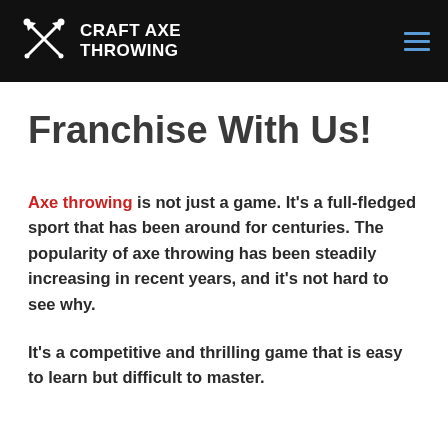CRAFT AXE THROWING
Franchise With Us!
Axe throwing is not just a game. It's a full-fledged sport that has been around for centuries. The popularity of axe throwing has been steadily increasing in recent years, and it's not hard to see why.
It's a competitive and thrilling game that is easy to learn but difficult to master.